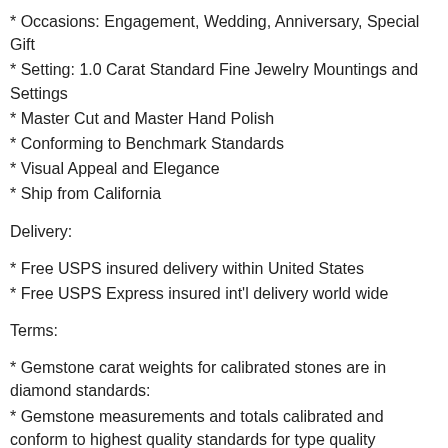* Occasions: Engagement, Wedding, Anniversary, Special Gift
* Setting: 1.0 Carat Standard Fine Jewelry Mountings and Settings
* Master Cut and Master Hand Polish
* Conforming to Benchmark Standards
* Visual Appeal and Elegance
* Ship from California
Delivery:
* Free USPS insured delivery within United States
* Free USPS Express insured int'l delivery world wide
Terms:
* Gemstone carat weights for calibrated stones are in diamond standards:
* Gemstone measurements and totals calibrated and conform to highest quality standards for type quality composition, cut, color, and may differ slightly.
* Gemstone images are professional catalog renderings